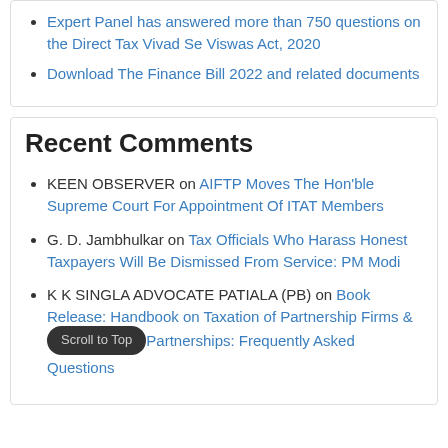Expert Panel has answered more than 750 questions on the Direct Tax Vivad Se Viswas Act, 2020
Download The Finance Bill 2022 and related documents
Recent Comments
KEEN OBSERVER on AIFTP Moves The Hon'ble Supreme Court For Appointment Of ITAT Members
G. D. Jambhulkar on Tax Officials Who Harass Honest Taxpayers Will Be Dismissed From Service: PM Modi
K K SINGLA ADVOCATE PATIALA (PB) on Book Release: Handbook on Taxation of Partnership Firms & Limited Liability Partnerships: Frequently Asked Questions